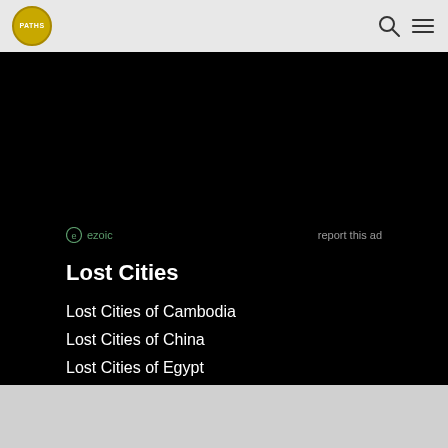PATHS
[Figure (screenshot): Black advertisement area with ezoic branding]
ezoic   report this ad
Lost Cities
Lost Cities of Cambodia
Lost Cities of China
Lost Cities of Egypt